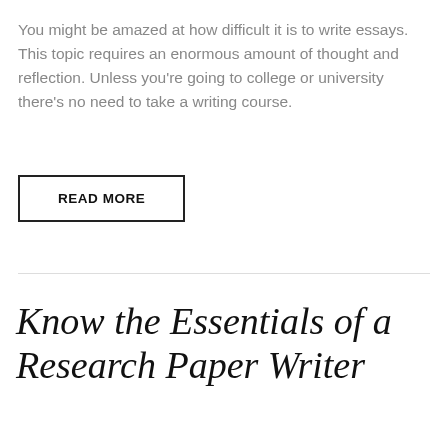You might be amazed at how difficult it is to write essays. This topic requires an enormous amount of thought and reflection. Unless you're going to college or university there's no need to take a writing course.
READ MORE
Know the Essentials of a Research Paper Writer